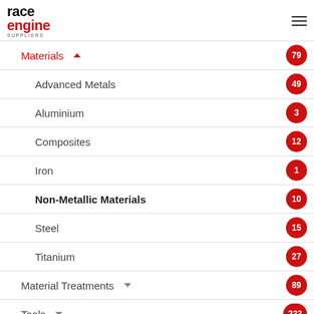[Figure (logo): Race Engine Suppliers logo with hamburger menu icon]
Materials 79
Advanced Metals 49
Aluminium 3
Composites 12
Iron 1
Non-Metallic Materials 10
Steel 15
Titanium 27
Material Treatments 89
Tools 233
Transmission 56
Valvetrain 108
All Suppliers